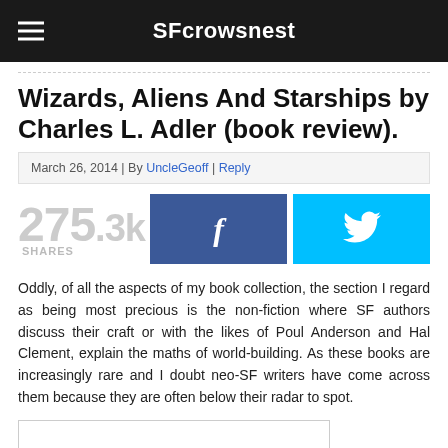SFcrowsnest
Wizards, Aliens And Starships by Charles L. Adler (book review).
March 26, 2014 | By UncleGeoff | Reply
275.3k SHARES
Oddly, of all the aspects of my book collection, the section I regard as being most precious is the non-fiction where SF authors discuss their craft or with the likes of Poul Anderson and Hal Clement, explain the maths of world-building. As these books are increasingly rare and I doubt neo-SF writers have come across them because they are often below their radar to spot.
[Figure (photo): Book cover image placeholder]